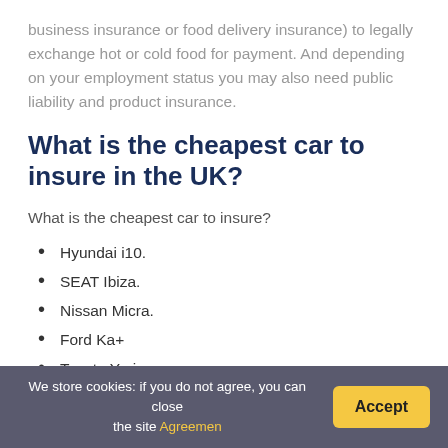business insurance or food delivery insurance) to legally exchange hot or cold food for payment. And depending on your employment status you may also need public liability and product insurance.
What is the cheapest car to insure in the UK?
What is the cheapest car to insure?
Hyundai i10.
SEAT Ibiza.
Nissan Micra.
Ford Ka+
Toyota Yaris.
Smart Forfour.
Skoda Citigo. The Skoda Citigo is in car insurance...
We store cookies: if you do not agree, you can close the site Agreemen